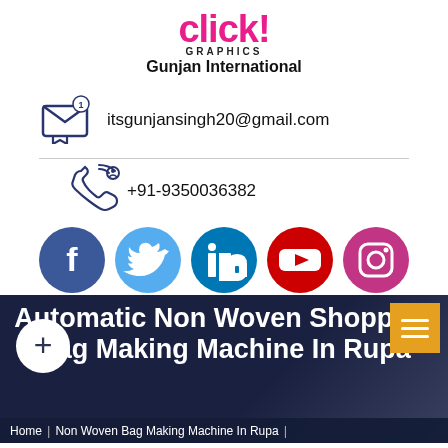[Figure (logo): Click! Graphics - Gunjan International logo. 'click!' in pink/magenta bold font with exclamation mark, 'GRAPHICS' in small caps below, 'Gunjan International' in bold black below that.]
itsgunjansingh20@gmail.com
+91-9350036382
[Figure (illustration): Row of five social media icons: Facebook (blue circle with f), Twitter (light blue circle with bird), LinkedIn (dark blue circle with in), YouTube (red circle with play button), Instagram (purple/pink circle with camera)]
Automatic Non Woven Shopping Bag Making Machine In Rupa
Home | Non Woven Bag Making Machine In Rupa |